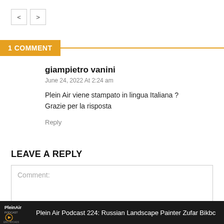[Figure (other): Navigation previous/next arrow buttons (< and >)]
1 COMMENT
giampietro vanini
June 24, 2022 At 2:24 am
Plein Air viene stampato in lingua Italiana ?
Grazie per la risposta
Reply
LEAVE A REPLY
Comment:
Plein Air Podcast 224: Russian Landscape Painter Zufar Bikbc